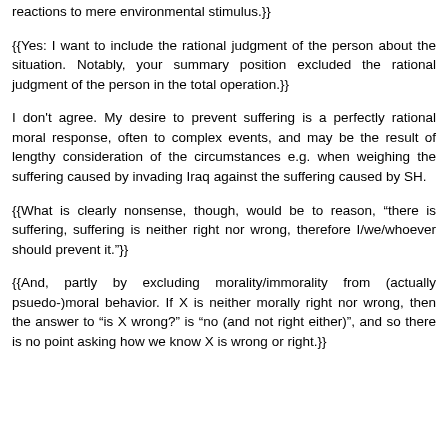reactions to mere environmental stimulus.}}
{{Yes: I want to include the rational judgment of the person about the situation. Notably, your summary position excluded the rational judgment of the person in the total operation.}}
I don't agree. My desire to prevent suffering is a perfectly rational moral response, often to complex events, and may be the result of lengthy consideration of the circumstances e.g. when weighing the suffering caused by invading Iraq against the suffering caused by SH.
{{What is clearly nonsense, though, would be to reason, "there is suffering, suffering is neither right nor wrong, therefore I/we/whoever should prevent it."}}
{{And, partly by excluding morality/immorality from (actually psuedo-)moral behavior. If X is neither morally right nor wrong, then the answer to "is X wrong?" is "no (and not right either)", and so there is no point asking how we know X is wrong or right.}}